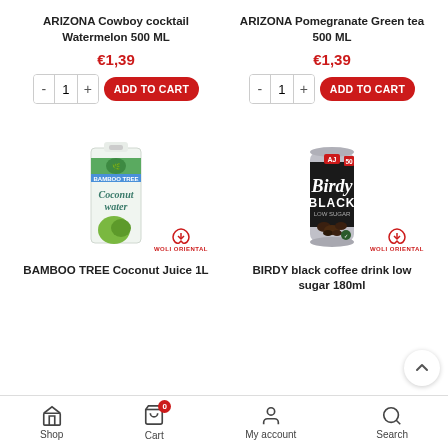ARIZONA Cowboy cocktail Watermelon 500 ML
€1,39
ARIZONA Pomegranate Green tea 500 ML
€1,39
[Figure (photo): BAMBOO TREE Coconut Juice 1L carton packaging showing coconut water branding with green coconuts]
BAMBOO TREE Coconut Juice 1L
[Figure (photo): BIRDY black coffee drink low sugar 180ml can, dark grey/black can with Birdy branding]
BIRDY black coffee drink low sugar 180ml
Shop  Cart  My account  Search